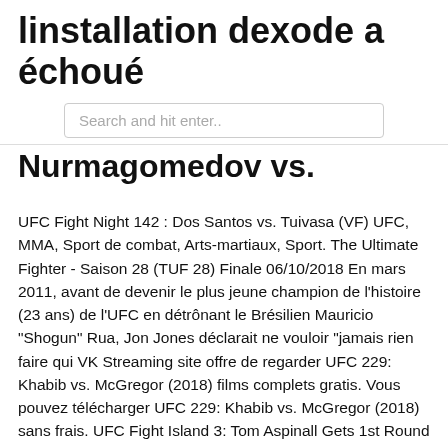linstallation dexode a échoué
Search and hit enter..
Nurmagomedov vs.
UFC Fight Night 142 : Dos Santos vs. Tuivasa (VF) UFC, MMA, Sport de combat, Arts-martiaux, Sport. The Ultimate Fighter - Saison 28 (TUF 28) Finale 06/10/2018 En mars 2011, avant de devenir le plus jeune champion de l'histoire (23 ans) de l'UFC en détrônant le Brésilien Mauricio "Shogun" Rua, Jon Jones déclarait ne vouloir "jamais rien faire qui VK Streaming site offre de regarder UFC 229: Khabib vs. McGregor (2018) films complets gratis. Vous pouvez télécharger UFC 229: Khabib vs. McGregor (2018) sans frais. UFC Fight Island 3: Tom Aspinall Gets 1st Round TKO Fight Island. Lookin' FWD To A Fight Dana White, Matt Serra & Michael Bisping Explore Abu Dhabi In Between Events UFC 229: Khabib vs. McGregor Streaming en complet Film Vf HD 1080p en Francais UFC 229: Khabib vs. McGregor regarder des films avec sous-titres français gratuitement. Regardez un film en ligne ou regardez les meilleures vidéos HD 1080p gratuites sur votre ordinateur de bureau, ordinateur portable